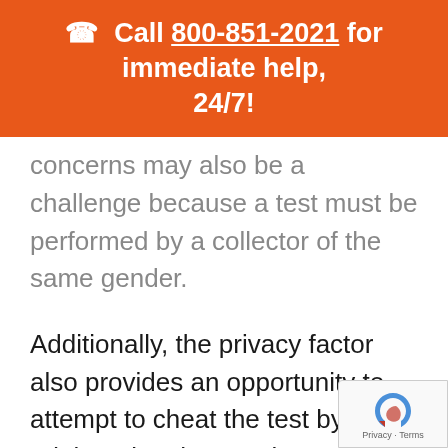📞 Call 800-851-2021 for immediate help, 24/7!
concerns may also be a challenge because a test must be performed by a collector of the same gender.
Additionally, the privacy factor also provides an opportunity to attempt to cheat the test by adulterating the specimen, which creates a negative dillute or positive dillute drug test result, or substituting the specimen